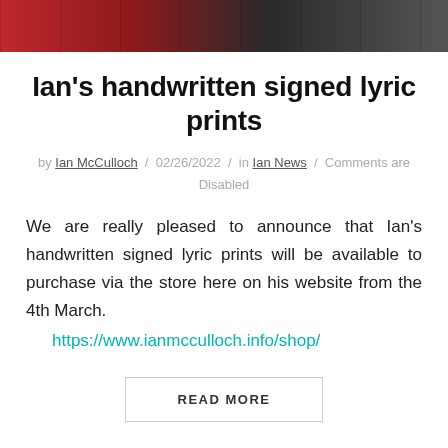[Figure (photo): Cropped photo strip showing two people, appears to be against a red/dark background]
Ian's handwritten signed lyric prints
by Ian McCulloch / 02/26/2022 / in Ian News / Comments are Disabled
We are really pleased to announce that Ian's handwritten signed lyric prints will be available to purchase via the store here on his website from the 4th March.
https://www.ianmcculloch.info/shop/
READ MORE